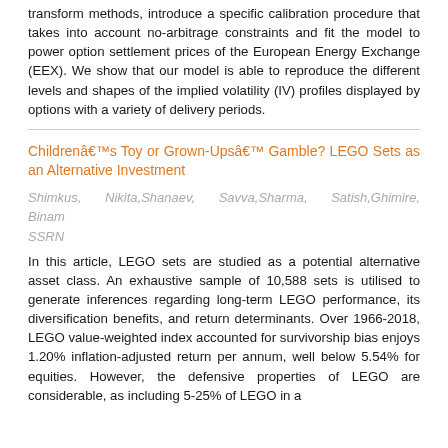transform methods, introduce a specific calibration procedure that takes into account no-arbitrage constraints and fit the model to power option settlement prices of the European Energy Exchange (EEX). We show that our model is able to reproduce the different levels and shapes of the implied volatility (IV) profiles displayed by options with a variety of delivery periods.
Childrenâ€™s Toy or Grown-Upsâ€™ Gamble? LEGO Sets as an Alternative Investment
Shimkus, Nikita,Shanaev, Savva,Sharma, Satish,Ghimire, Binam
SSRN
In this article, LEGO sets are studied as a potential alternative asset class. An exhaustive sample of 10,588 sets is utilised to generate inferences regarding long-term LEGO performance, its diversification benefits, and return determinants. Over 1966-2018, LEGO value-weighted index accounted for survivorship bias enjoys 1.20% inflation-adjusted return per annum, well below 5.54% for equities. However, the defensive properties of LEGO are considerable, as including 5-25% of LEGO in a